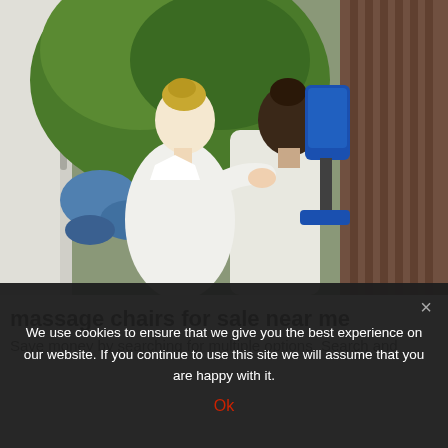[Figure (photo): A blonde massage therapist in white clothing performing a chair massage on a dark-haired client seated in a blue massage chair, with a glass door/window showing green foliage in the background and wooden paneling on the right.]
massage chairs for sale near me
Save money by searching for multiple options. Search and
We use cookies to ensure that we give you the best experience on our website. If you continue to use this site we will assume that you are happy with it.
Ok